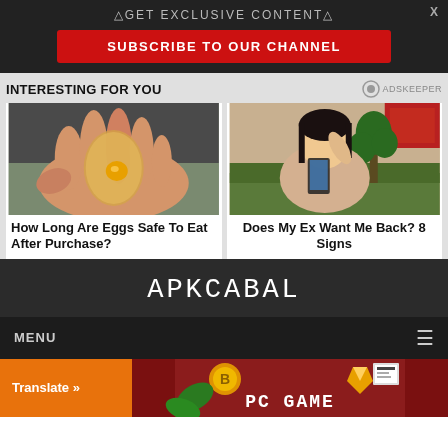△GET EXCLUSIVE CONTENT△
SUBSCRIBE TO OUR CHANNEL
INTERESTING FOR YOU
[Figure (photo): Hand holding a transparent egg-like object with a yellow yolk visible inside]
How Long Are Eggs Safe To Eat After Purchase?
[Figure (photo): Young Asian woman sitting on a couch looking at her phone with hand on forehead]
Does My Ex Want Me Back? 8 Signs
APKCABAL
MENU
Translate »
PC GAME